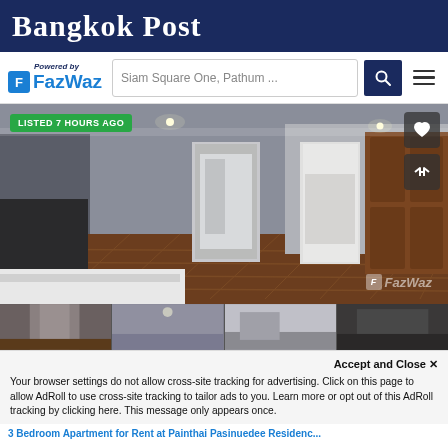Bangkok Post
[Figure (logo): FazWaz logo with 'Powered by' text and search bar showing 'Siam Square One, Pathum ...' with search and menu icons]
[Figure (photo): Interior room photo of an apartment with hardwood parquet floors, white walls, open doors showing hallway and bedroom, dark wood armoire on right, recessed lighting. Badge: 'LISTED 7 HOURS AGO'. FazWaz watermark at bottom right.]
[Figure (photo): Row of four small thumbnail photos of apartment interior rooms]
Accept and Close ✕
Your browser settings do not allow cross-site tracking for advertising. Click on this page to allow AdRoll to use cross-site tracking to tailor ads to you. Learn more or opt out of this AdRoll tracking by clicking here. This message only appears once.
3 Bedroom Apartment for Rent at Painthai Pasinuedee Residenc...